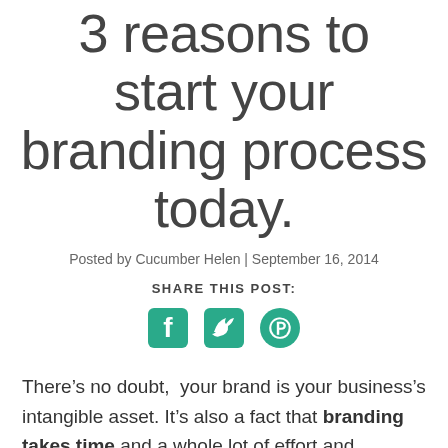3 reasons to start your branding process today.
Posted by Cucumber Helen | September 16, 2014
SHARE THIS POST:
[Figure (infographic): Three social media icons: Facebook, Twitter, Pinterest in teal/green color]
There’s no doubt,  your brand is your business’s intangible asset. It’s also a fact that branding takes time and a whole lot of effort and discipline (from everyone on your team – your marketing department to your sales people).